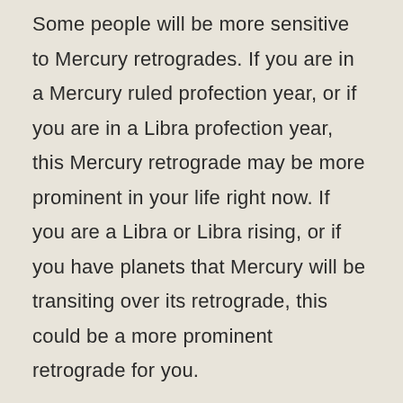Some people will be more sensitive to Mercury retrogrades. If you are in a Mercury ruled profection year, or if you are in a Libra profection year, this Mercury retrograde may be more prominent in your life right now. If you are a Libra or Libra rising, or if you have planets that Mercury will be transiting over its retrograde, this could be a more prominent retrograde for you.
But, not every retrograde is a big deal in every person's life every time.
If you're feeling this Mercury retrograde